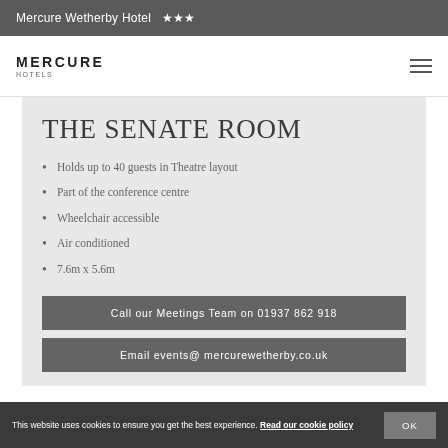Mercure Wetherby Hotel ★★★
[Figure (logo): Mercure Hotels logo with hamburger menu icon]
THE SENATE ROOM
Holds up to 40 guests in Theatre layout
Part of the conference centre
Wheelchair accessible
Air conditioned
7.6m x 5.6m
Call our Meetings Team on 01937 862 918
Email events@ mercurewetherby.co.uk
This website uses cookies to ensure you get the best experience. Read our cookie policy OK